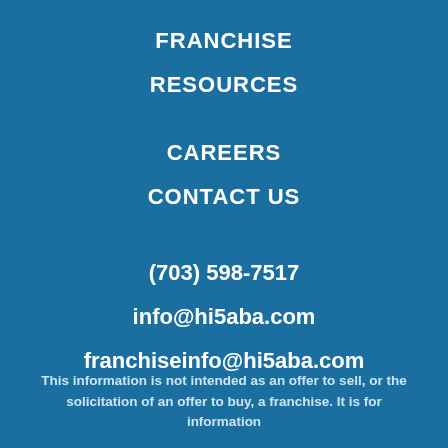FRANCHISE
RESOURCES
CAREERS
CONTACT US
(703) 598-7517
info@hi5aba.com
franchiseinfo@hi5aba.com
This information is not intended as an offer to sell, or the solicitation of an offer to buy, a franchise. It is for information